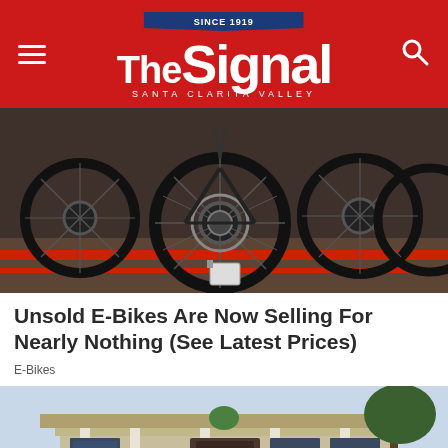The Signal — Santa Clarita Valley (Since 1919)
[Figure (photo): Close-up photograph of multiple black bicycles/e-bikes lined up, showing large wheels with disc brakes on a red-striped ground surface.]
Unsold E-Bikes Are Now Selling For Nearly Nothing (See Latest Prices)
E-Bikes
[Figure (photo): Photograph of a residential house with white columns, a front porch, and surrounding trees.]